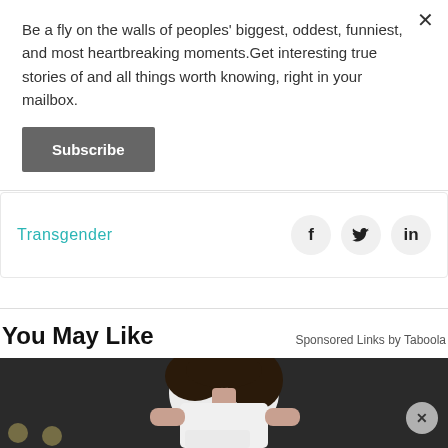Be a fly on the walls of peoples' biggest, oddest, funniest, and most heartbreaking moments.Get interesting true stories of and all things worth knowing, right in your mailbox.
Subscribe
Transgender
You May Like
Sponsored Links by Taboola
[Figure (photo): Woman with dark wavy hair wearing a white sleeveless top, holding a white bag, photographed against a dark background]